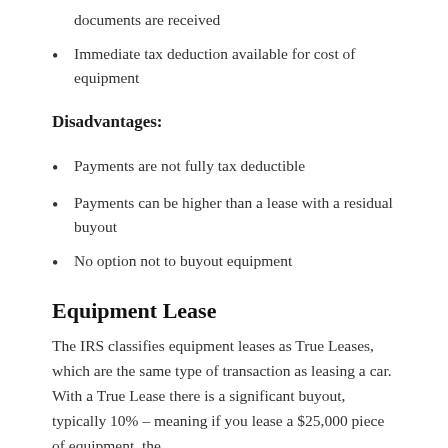documents are received
Immediate tax deduction available for cost of equipment
Disadvantages:
Payments are not fully tax deductible
Payments can be higher than a lease with a residual buyout
No option not to buyout equipment
Equipment Lease
The IRS classifies equipment leases as True Leases, which are the same type of transaction as leasing a car. With a True Lease there is a significant buyout, typically 10% – meaning if you lease a $25,000 piece of equipment, the